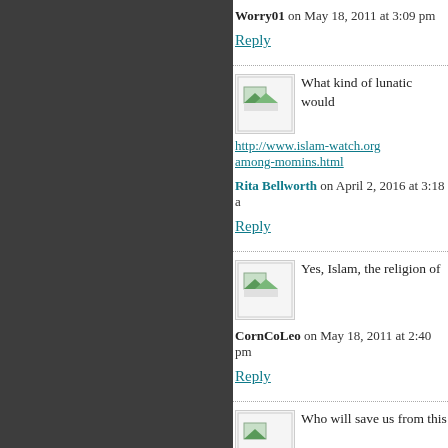Worry01 on May 18, 2011 at 3:09 pm
Reply
[Figure (illustration): User avatar thumbnail with small green image icon]
What kind of lunatic would
http://www.islam-watch.org... among-momins.html
Rita Bellworth on April 2, 2016 at 3:18 a
Reply
[Figure (illustration): User avatar thumbnail with small green image icon]
Yes, Islam, the religion of
CornCoLeo on May 18, 2011 at 2:40 pm
Reply
[Figure (illustration): User avatar thumbnail with small green image icon]
Who will save us from this